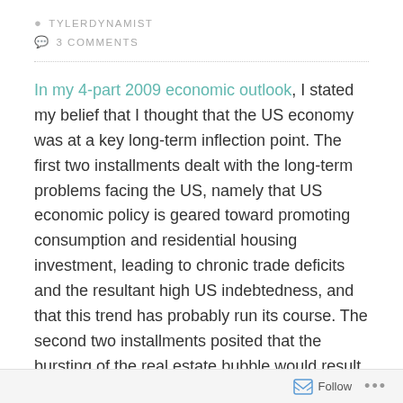TYLERDYNAMIST
3 COMMENTS
In my 4-part 2009 economic outlook, I stated my belief that I thought that the US economy was at a key long-term inflection point. The first two installments dealt with the long-term problems facing the US, namely that US economic policy is geared toward promoting consumption and residential housing investment, leading to chronic trade deficits and the resultant high US indebtedness, and that this trend has probably run its course. The second two installments posited that the bursting of the real estate bubble would result in $1.8 trillion of bank losses and that the banking system would be hobbled without offsetting injections of capital, which
Follow